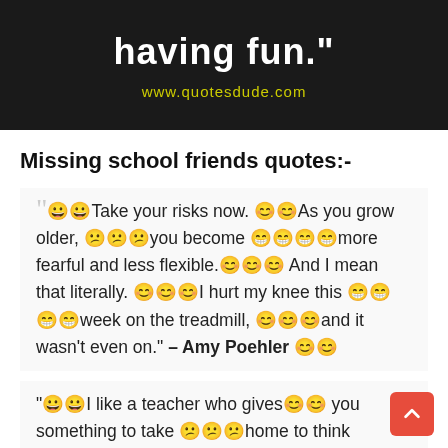[Figure (screenshot): Dark background image with bold white text 'having fun."' and yellow URL 'www.quotesdude.com']
Missing school friends quotes:-
“😀😀Take your risks now. 😊😊As you grow older, 😕😕😕you become 😁😁😁😁more fearful and less flexible.😊😊😊 And I mean that literally. 😊😊😊I hurt my knee this 😁😁😁😁week on the treadmill, 😊😊😊and it wasn't even on." – Amy Poehler 😊😊
“😀😀I like a teacher who gives😊😊 you something to take 😕😕😕home to think